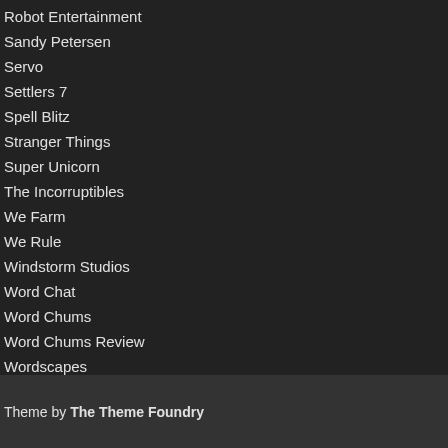Robot Entertainment
Sandy Petersen
Servo
Settlers 7
Spell Blitz
Stranger Things
Super Unicorn
The Incorruptibles
We Farm
We Rule
Windstorm Studios
Word Chat
Word Chums
Word Chums Review
Wordscapes
Theme by The Theme Foundry